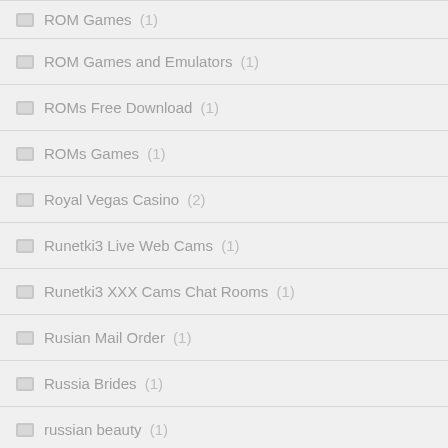ROM Games (1)
ROM Games and Emulators (1)
ROMs Free Download (1)
ROMs Games (1)
Royal Vegas Casino (2)
Runetki3 Live Web Cams (1)
Runetki3 XXX Cams Chat Rooms (1)
Rusian Mail Order (1)
Russia Brides (1)
russian beauty (1)